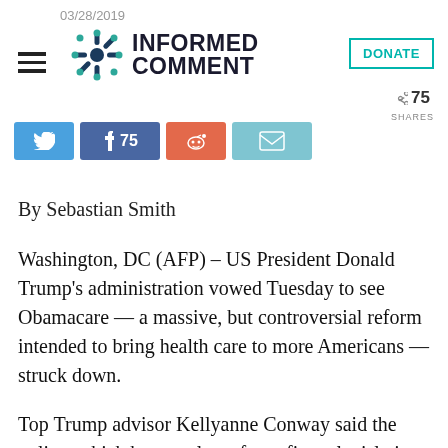03/28/2019 — Informed Comment — DONATE — 75 SHARES
[Figure (logo): Informed Comment website logo with decorative snowflake/asterisk icon and bold uppercase text 'INFORMED COMMENT']
By Sebastian Smith
Washington, DC (AFP) – US President Donald Trump's administration vowed Tuesday to see Obamacare — a massive, but controversial reform intended to bring health care to more Americans — struck down.
Top Trump advisor Kellyanne Conway said the policy, which became law after a fierce legislative battle under then president